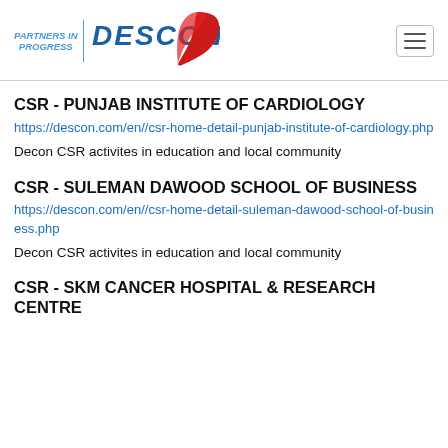PARTNERS IN PROGRESS | DESCON
CSR - PUNJAB INSTITUTE OF CARDIOLOGY
https://descon.com/en//csr-home-detail-punjab-institute-of-cardiology.php
Decon CSR activites in education and local community
CSR - SULEMAN DAWOOD SCHOOL OF BUSINESS
https://descon.com/en//csr-home-detail-suleman-dawood-school-of-business.php
Decon CSR activites in education and local community
CSR - SKM CANCER HOSPITAL & RESEARCH CENTRE